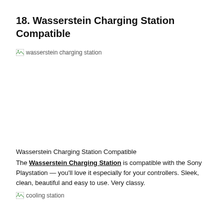18. Wasserstein Charging Station Compatible
[Figure (photo): Broken image placeholder labeled 'wasserstein charging station']
Wasserstein Charging Station Compatible
The Wasserstein Charging Station is compatible with the Sony Playstation — you'll love it especially for your controllers. Sleek, clean, beautiful and easy to use. Very classy.
[Figure (photo): Broken image placeholder labeled 'cooling station']